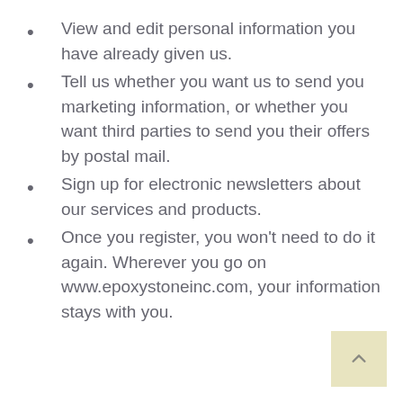View and edit personal information you have already given us.
Tell us whether you want us to send you marketing information, or whether you want third parties to send you their offers by postal mail.
Sign up for electronic newsletters about our services and products.
Once you register, you won't need to do it again. Wherever you go on www.epoxystoneinc.com, your information stays with you.